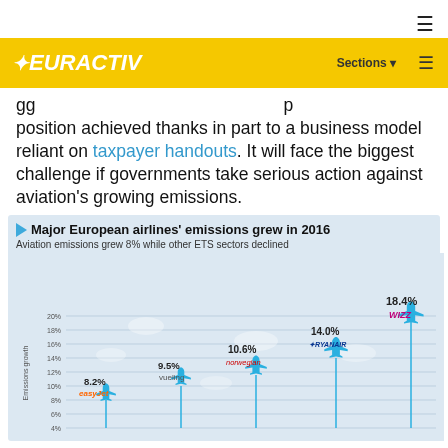EURACTIV — Sections
gg position achieved thanks in part to a business model reliant on taxpayer handouts. It will face the biggest challenge if governments take serious action against aviation's growing emissions.
[Figure (bar-chart): Aviation emissions grew 8% while other ETS sectors declined]